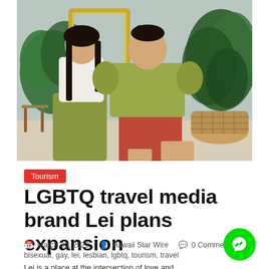[Figure (photo): Two Asian women sitting together. Left woman wears white top and olive/yellow-green pants with long dark hair. Right woman wears olive/yellow-green off-shoulder top with red-orange shorts. Background has large tropical plants, a wicker basket planter, a wooden stool, and a gold mirror frame against a light blue-grey wall.]
Tourism
LGBTQ travel media brand Lei plans expansion
March 30, 2022   Hawaii Star Wire   0 Comments
bisexual, gay, lei, lesbian, lgbtq, tourism, travel